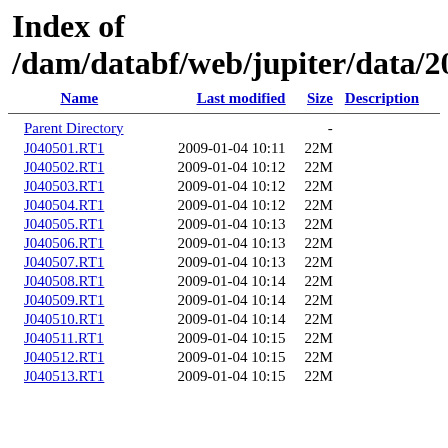Index of /dam/databf/web/jupiter/data/20
| Name | Last modified | Size | Description |
| --- | --- | --- | --- |
| Parent Directory |  | - |  |
| J040501.RT1 | 2009-01-04 10:11 | 22M |  |
| J040502.RT1 | 2009-01-04 10:12 | 22M |  |
| J040503.RT1 | 2009-01-04 10:12 | 22M |  |
| J040504.RT1 | 2009-01-04 10:12 | 22M |  |
| J040505.RT1 | 2009-01-04 10:13 | 22M |  |
| J040506.RT1 | 2009-01-04 10:13 | 22M |  |
| J040507.RT1 | 2009-01-04 10:13 | 22M |  |
| J040508.RT1 | 2009-01-04 10:14 | 22M |  |
| J040509.RT1 | 2009-01-04 10:14 | 22M |  |
| J040510.RT1 | 2009-01-04 10:14 | 22M |  |
| J040511.RT1 | 2009-01-04 10:15 | 22M |  |
| J040512.RT1 | 2009-01-04 10:15 | 22M |  |
| J040513.RT1 | 2009-01-04 10:15 | 22M |  |